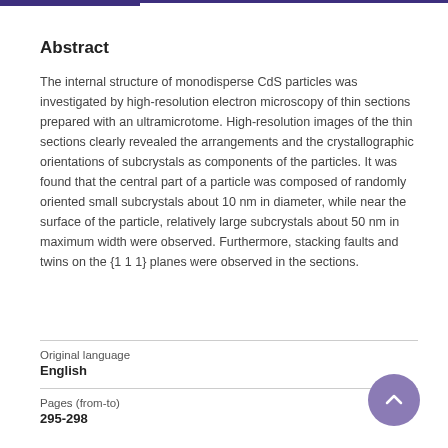Abstract
The internal structure of monodisperse CdS particles was investigated by high-resolution electron microscopy of thin sections prepared with an ultramicrotome. High-resolution images of the thin sections clearly revealed the arrangements and the crystallographic orientations of subcrystals as components of the particles. It was found that the central part of a particle was composed of randomly oriented small subcrystals about 10 nm in diameter, while near the surface of the particle, relatively large subcrystals about 50 nm in maximum width were observed. Furthermore, stacking faults and twins on the {1 1 1} planes were observed in the sections.
Original language
English
Pages (from-to)
295-298